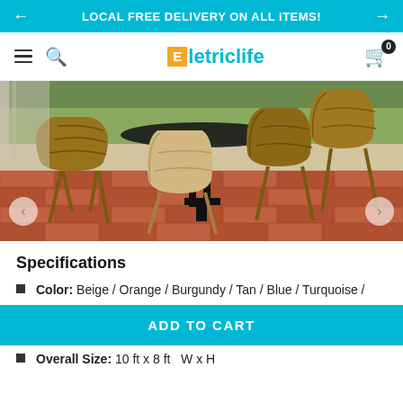LOCAL FREE DELIVERY ON ALL ITEMS!
[Figure (logo): Eletriclife brand logo with cyan E-square icon]
[Figure (photo): Outdoor wicker dining set with round glass table and multiple chairs on brick patio]
Specifications
Color: Beige / Orange / Burgundy / Tan / Blue / Turquoise / ...
ADD TO CART
Overall Size: 10 ft x 8 ft   W x H